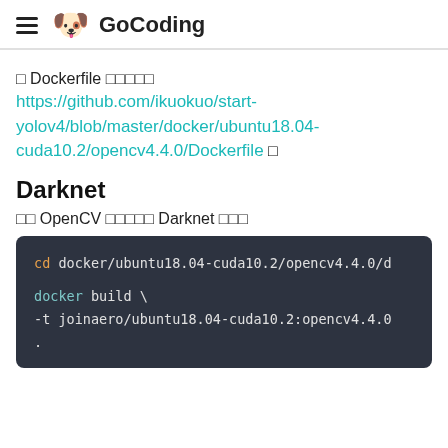GoCoding
□ Dockerfile □□□□□
https://github.com/ikuokuo/start-yolov4/blob/master/docker/ubuntu18.04-cuda10.2/opencv4.4.0/Dockerfile □
Darknet
□□ OpenCV □□□□□ Darknet □□□
cd docker/ubuntu18.04-cuda10.2/opencv4.4.0/d

docker build \
-t joinaero/ubuntu18.04-cuda10.2:opencv4.4.0
.